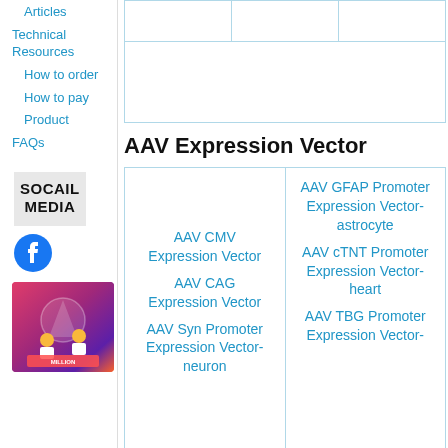Articles
Technical Resources
How to order
How to pay
Product
FAQs
[Figure (other): SOCIAL MEDIA box with Facebook icon and promotional banner image]
|  |  |  |
|  |  |  |
AAV Expression Vector
| AAV CMV Expression Vector
AAV CAG Expression Vector
AAV Syn Promoter Expression Vector-neuron | AAV GFAP Promoter Expression Vector-astrocyte
AAV cTNT Promoter Expression Vector-heart
AAV TBG Promoter Expression Vector- |